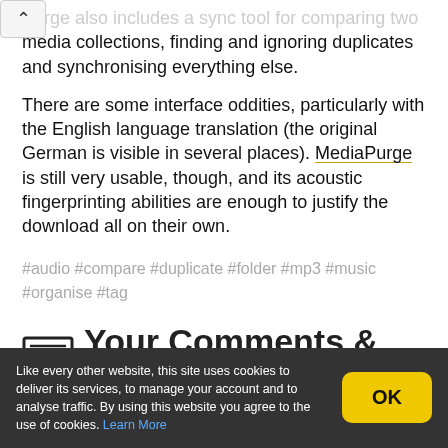Purge also includes a sync tool for comparing two media collections, finding and ignoring duplicates and synchronising everything else.
There are some interface oddities, particularly with the English language translation (the original German is visible in several places). MediaPurge is still very usable, though, and its acoustic fingerprinting abilities are enough to justify the download all on their own.
#audio #compare #duplicate #folder #mp3 #music #organise #tag
Your Comments & Opinion
Like every other website, this site uses cookies to deliver its services, to manage your account and to analyse traffic. By using this website you agree to the use of cookies. Learn More